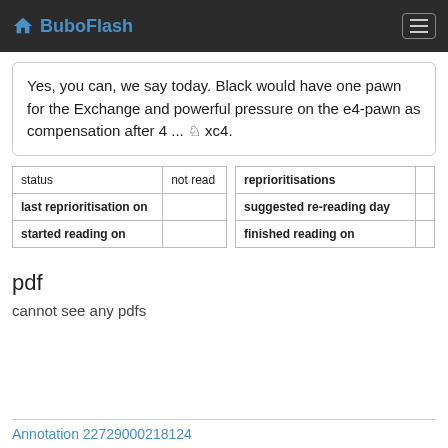BuboFlash
Yes, you can, we say today. Black would have one pawn for the Exchange and powerful pressure on the e4-pawn as compensation after 4 ... ♞ xc4.
| status | not read |
| --- | --- |
| last reprioritisation on |  |
| started reading on |  |
| reprioritisations |  |
| --- | --- |
| suggested re-reading day |  |
| finished reading on |  |
pdf
cannot see any pdfs
Annotation 22729000218124